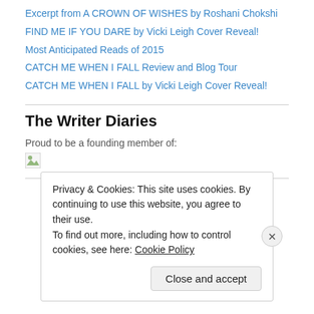Excerpt from A CROWN OF WISHES by Roshani Chokshi
FIND ME IF YOU DARE by Vicki Leigh Cover Reveal!
Most Anticipated Reads of 2015
CATCH ME WHEN I FALL Review and Blog Tour
CATCH ME WHEN I FALL by Vicki Leigh Cover Reveal!
The Writer Diaries
Proud to be a founding member of:
[Figure (illustration): Broken/missing image placeholder with green icon]
Privacy & Cookies: This site uses cookies. By continuing to use this website, you agree to their use.
To find out more, including how to control cookies, see here: Cookie Policy
Close and accept